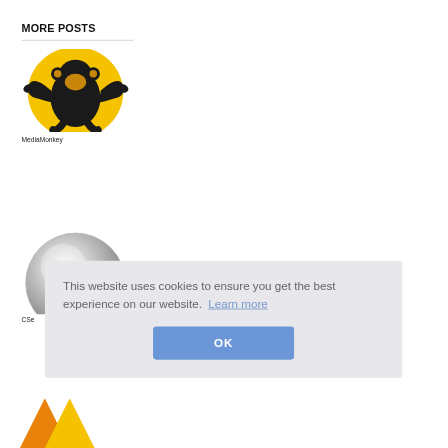MORE POSTS
[Figure (logo): MediaMonkey app logo: monkey silhouette on a yellow circle]
MediaMonkey
[Figure (logo): Partially visible silver/metallic circular logo]
CSe
[Figure (screenshot): Cookie consent banner overlay with text and OK button]
This website uses cookies to ensure you get the best experience on our website.  Learn more
OK